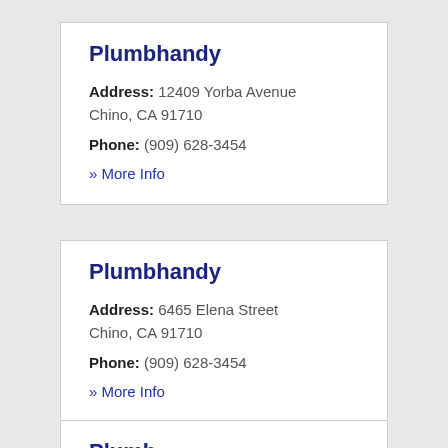Plumbhandy
Address: 12409 Yorba Avenue Chino, CA 91710
Phone: (909) 628-3454
» More Info
Plumbhandy
Address: 6465 Elena Street Chino, CA 91710
Phone: (909) 628-3454
» More Info
Plumbhandy